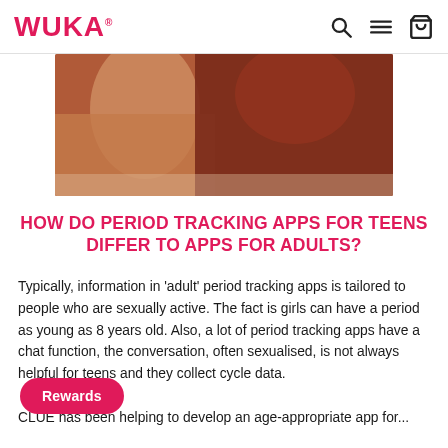WUKA® [search] [menu] [cart]
[Figure (photo): Partial photo of a person wearing an orange/rust colored top, appearing to be sitting at a desk or table, cropped at mid-torso.]
HOW DO PERIOD TRACKING APPS FOR TEENS DIFFER TO APPS FOR ADULTS?
Typically, information in 'adult' period tracking apps is tailored to people who are sexually active. The fact is girls can have a period as young as 8 years old. Also, a lot of period tracking apps have a chat function, the conversation, often sexualised, is not always helpful for teens and they collect cycle data.
CLUE has been helping to develop an age-appropriate app for...
Rewards